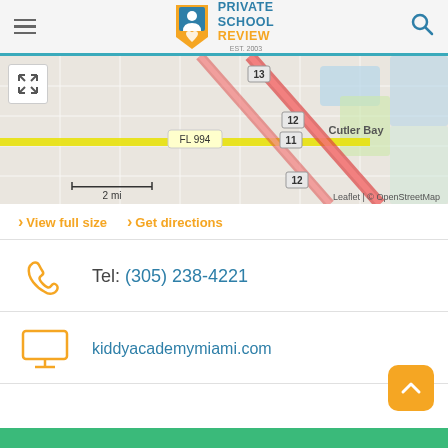Private School Review - EST. 2003
[Figure (map): Street map showing Cutler Bay area, FL 994, with route markers 12 and 13, scale bar showing 2 mi, Leaflet | © OpenStreetMap attribution]
> View full size  > Get directions
Tel: (305) 238-4221
kiddyacademymiami.com